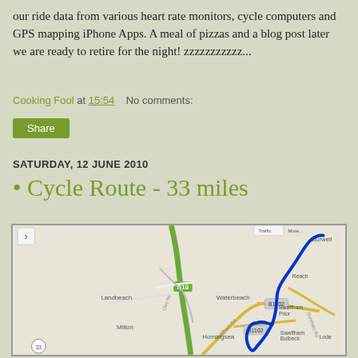our ride data from various heart rate monitors, cycle computers and GPS mapping iPhone Apps. A meal of pizzas and a blog post later we are ready to retire for the night! zzzzzzzzzzz...
Cooking Fool at 15:54   No comments:
Share
SATURDAY, 12 JUNE 2010
• Cycle Route - 33 miles
[Figure (map): A Google Maps screenshot showing a cycling route of 33 miles. The route is drawn in blue, passing through areas including Landbeach, Waterbeach, Milton, Horningsea, Lode, Reach, Burwell, Swaffham Prior, and Swaffham Bulbeck near Cambridge, UK. Road labels include A10, B1102, and Swaffham Rd.]